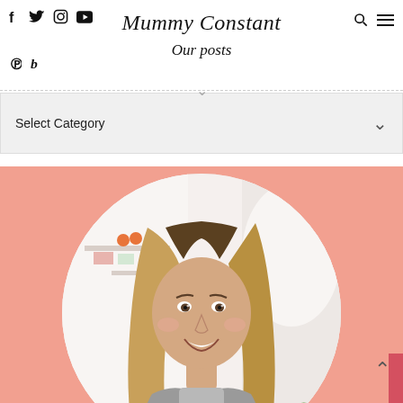Mummy Constant — Our posts
Select Category
[Figure (photo): A smiling woman with long blonde hair in a kitchen setting with a pink salmon-colored circular background behind her]